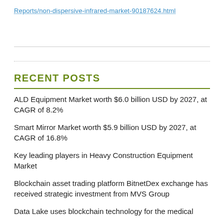Reports/non-dispersive-infrared-market-90187624.html
ALD Equipment Market worth $6.0 billion USD by 2027, at CAGR of 8.2%
Smart Mirror Market worth $5.9 billion USD by 2027, at CAGR of 16.8%
Key leading players in Heavy Construction Equipment Market
Blockchain asset trading platform BitnetDex exchange has received strategic investment from MVS Group
Data Lake uses blockchain technology for the medical